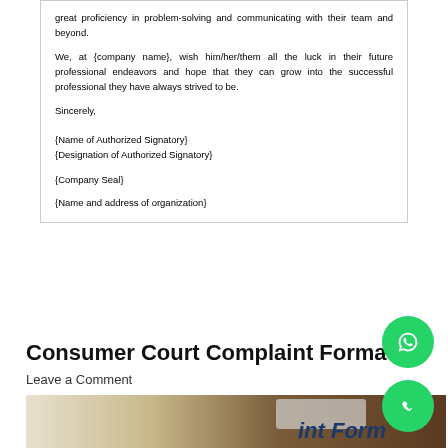great proficiency in problem-solving and communicating with their team and beyond.
We, at {company name}, wish him/her/them all the luck in their future professional endeavors and hope that they can grow into the successful professional they have always strived to be.
Sincerely,
{Name of Authorized Signatory}
{Designation of Authorized Signatory}
{Company Seal}
{Name and address of organization}
Consumer Court Complaint Format
Leave a Comment
[Figure (photo): Photo showing a keyboard and a form with text 'int Form' visible]